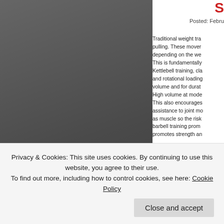[Figure (photo): Dark gray/charcoal colored image panel on the left side of the page, showing a textured dark background — likely a person or object photographed against a dark environment.]
S
Posted: Febru
Traditional weight tra pulling. These mover depending on the we This is fundamentally Kettlebell training, cla and rotational loading volume and for durat High volume at mode This also encourages assistance to joint mo as muscle so the risk barbell training promo promotes strength an
Privacy & Cookies: This site uses cookies. By continuing to use this website, you agree to their use.
To find out more, including how to control cookies, see here: Cookie Policy
Close and accept